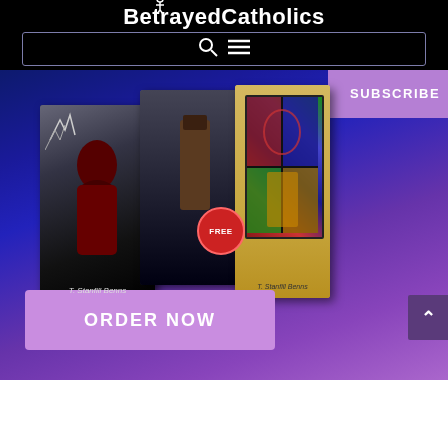[Figure (screenshot): BetrayedCatholics website header with logo, navigation bar with search and hamburger menu icons, a hero section with gradient background showing book covers by T. Stanfill Benns, a purple SUBSCRIBE button, an ORDER NOW button, and a scroll-to-top button.]